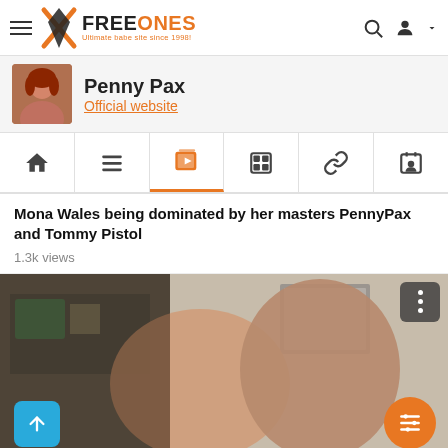FreeOnes — Ultimate babe site since 1998!
Penny Pax
Official website
[Figure (screenshot): Navigation tabs: home, list, video (active/orange), gallery, link, profile icons]
Mona Wales being dominated by her masters PennyPax and Tommy Pistol
1.3k views
[Figure (photo): Video thumbnail showing two women, one blonde and one dark-haired, in an intimate scene. A dark menu button is in the top-right corner. A blue scroll-to-top button is at the bottom-left and an orange filter button is at the bottom-right.]